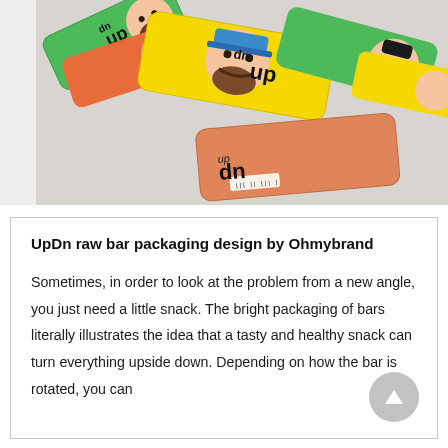[Figure (photo): Photo of multiple colorful UpDn raw bar packages (green, yellow, orange) scattered on a light grey background. Each package features illustrated cartoon faces and the 'updn' logo.]
UpDn raw bar packaging design by Ohmybrand
Sometimes, in order to look at the problem from a new angle, you just need a little snack. The bright packaging of bars literally illustrates the idea that a tasty and healthy snack can turn everything upside down. Depending on how the bar is rotated, you can